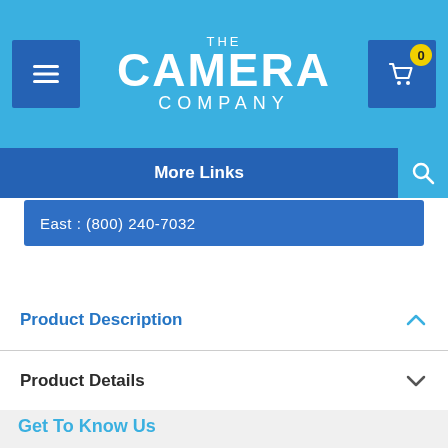THE CAMERA COMPANY
More Links
East : (800) 240-7032
Product Description
Product Details
Accessories
Shipping
Get To Know Us